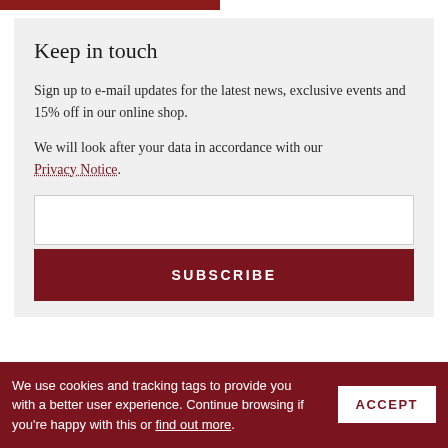Keep in touch
Sign up to e-mail updates for the latest news, exclusive events and 15% off in our online shop.
We will look after your data in accordance with our Privacy Notice.
[Figure (screenshot): Email input text field (empty white box)]
[Figure (screenshot): SUBSCRIBE button in dark red]
[Figure (screenshot): Row of social media icons partially visible: Facebook, Instagram, Twitter, Twitter, and one more]
We use cookies and tracking tags to provide you with a better user experience. Continue browsing if you're happy with this or find out more.
[Figure (screenshot): ACCEPT button in white on dark red background]